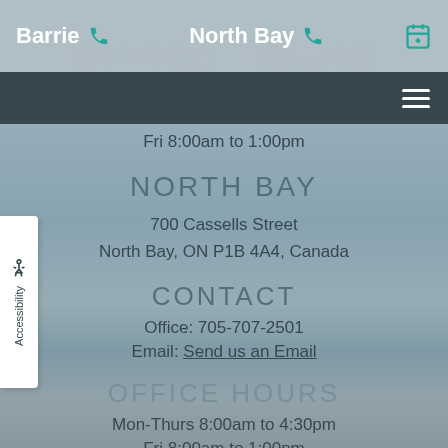Barrie  North Bay  [calendar icon]
Fri 8:00am to 1:00pm
NORTH BAY
700 Cassells Street
North Bay, ON P1B 4A4, Canada
CONTACT
Office: 705-707-2501
Email: Send us an Email
OFFICE HOURS
Mon-Thurs 8:00am to 4:30pm
Fri 8:00am to 1:00pm